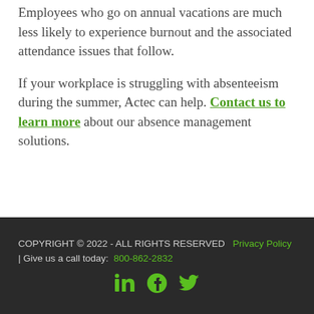Employees who go on annual vacations are much less likely to experience burnout and the associated attendance issues that follow.
If your workplace is struggling with absenteeism during the summer, Actec can help. Contact us to learn more about our absence management solutions.
COPYRIGHT © 2022 - ALL RIGHTS RESERVED   Privacy Policy | Give us a call today:  800-862-2832